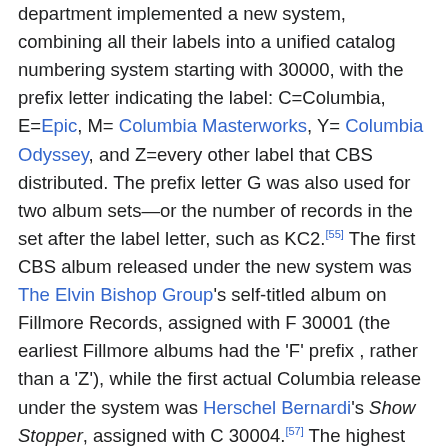department implemented a new system, combining all their labels into a unified catalog numbering system starting with 30000, with the prefix letter indicating the label: C=Columbia, E=Epic, M= Columbia Masterworks, Y= Columbia Odyssey, and Z=every other label that CBS distributed. The prefix letter G was also used for two album sets—or the number of records in the set after the label letter, such as KC2.[55] The first CBS album released under the new system was The Elvin Bishop Group's self-titled album on Fillmore Records, assigned with F 30001 (the earliest Fillmore albums had the 'F' prefix , rather than a 'Z'), while the first actual Columbia release under the system was Herschel Bernardi's Show Stopper, assigned with C 30004.[57] The highest catalog number released in the old system was CS-1069, assigned to The Sesame Street Book and